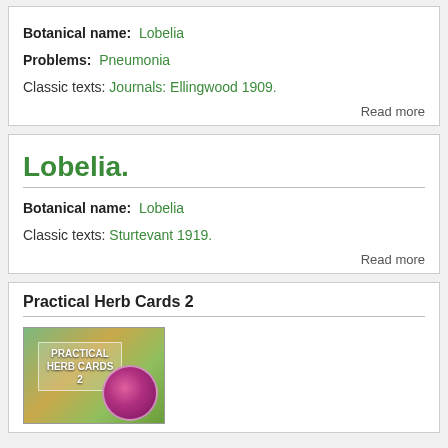Botanical name: Lobelia
Problems: Pneumonia
Classic texts: Journals: Ellingwood 1909.
Read more
Lobelia.
Botanical name: Lobelia
Classic texts: Sturtevant 1919.
Read more
Practical Herb Cards 2
[Figure (photo): Book cover for Practical Herb Cards 2 showing a purple thistle flower on a yellow-green background with the title text overlaid]